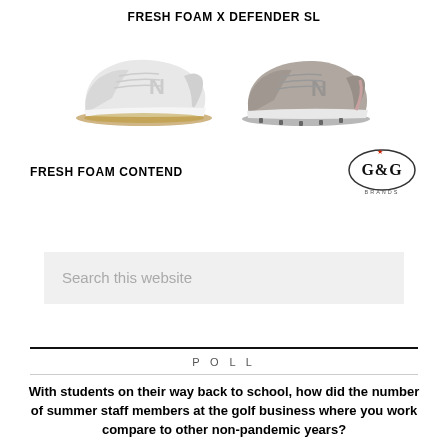FRESH FOAM X DEFENDER SL
[Figure (photo): Two New Balance golf shoes: one white with gum sole on the left and one grey/taupe on the right]
FRESH FOAM CONTEND
[Figure (logo): G&G Brands logo: circular oval outline with G&G text and a small maple leaf at top, BRANDS text below]
Search this website
POLL
With students on their way back to school, how did the number of summer staff members at the golf business where you work compare to other non-pandemic years?